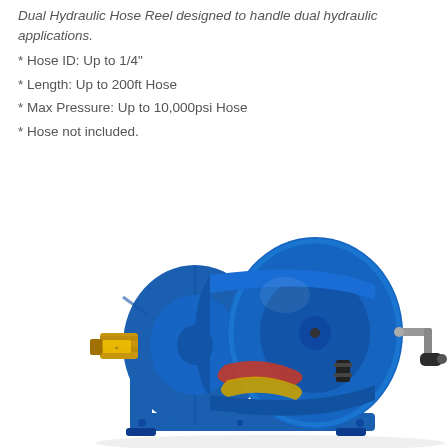Dual Hydraulic Hose Reel designed to handle dual hydraulic applications.
* Hose ID: Up to 1/4"
* Length: Up to 200ft Hose
* Max Pressure: Up to 10,000psi Hose
* Hose not included.
[Figure (photo): Blue dual hydraulic hose reel with a manual crank handle on the right side, two disc flanges, a brass swivel fitting on the left, and red/yellow hydraulic hoses visible inside the drum. The reel is mounted on a base and photographed against a white background.]